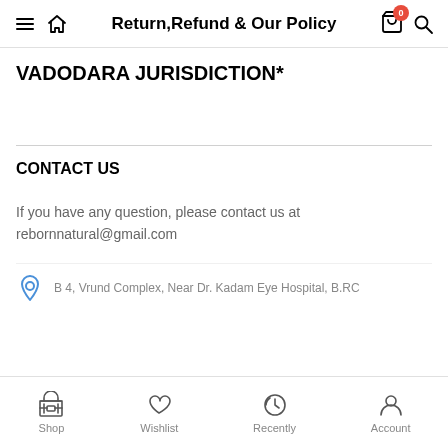Return,Refund & Our Policy
VADODARA JURISDICTION*
CONTACT US
If you have any question, please contact us at rebornnatural@gmail.com
B 4, Vrund Complex, Near Dr. Kadam Eye Hospital, B.RC
Shop  Wishlist  Recently  Account